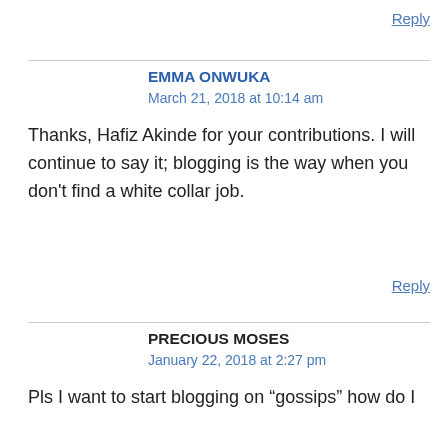Reply
EMMA ONWUKA
March 21, 2018 at 10:14 am
Thanks, Hafiz Akinde for your contributions. I will continue to say it; blogging is the way when you don’t find a white collar job.
Reply
PRECIOUS MOSES
January 22, 2018 at 2:27 pm
Pls I want to start blogging on “gossips” how do I